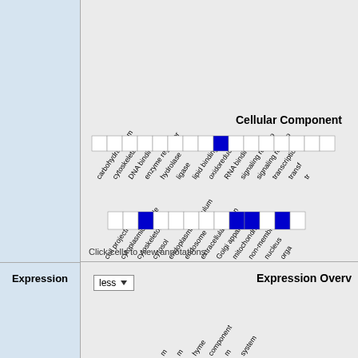[Figure (table-as-image): Molecular Function annotation grid with rotated column headers: carbohydrate dem, cytoskeletal pro, DNA binding, enzyme regulator, hydrolase, ligase, lipid binding, oxidoreductase, RNA binding, signaling recepto, signaling recepto, transcription, transf. One blue filled cell in the RNA binding column.]
Cellular Component
[Figure (table-as-image): Cellular Component annotation grid with rotated column headers: cell projection, cytoplasmic vesicle, cytoskeleton, cytosol, endoplasmic reticulum, endosome, extracellular region, Golgi apparatus, mitochondrion, non-membrane-b, nucleus, orga. Blue filled cells in cytoskeleton, mitochondrion, and organelle columns.]
Click cells to view annotations.
Expression
less
Expression Overview